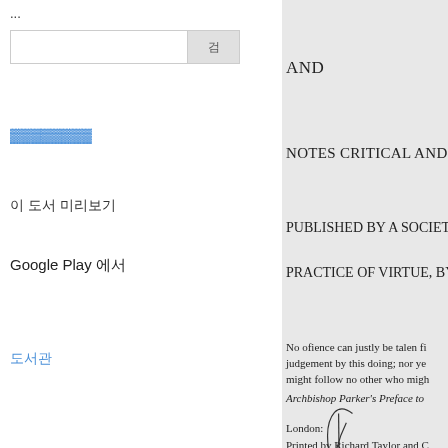...
검색 입력창 및 버튼
링크 텍스트 (파란색)
이 도서 미리보기
Google Play 에서
도서관
AND
NOTES CRITICAL AND EXPL
PUBLISHED BY A SOCIETY O
PRACTICE OF VIRTUE, BY TH
No ofience can justly be talen fi judgement by this doing; nor ye might follow no other who migh
Archbishop Parker's Preface to
London:
Printed by Richard Taylor and C
SOLD BY J. JOHNSON, st. PA
REES, AND ORME, PATERNO